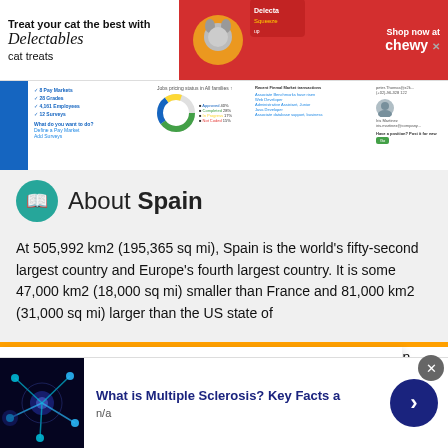[Figure (screenshot): Advertisement banner for Delectables cat treats by Chewy, showing a cat, product images, and 'Shop now at chewy' button on red background]
[Figure (screenshot): Screenshot of a business data dashboard showing market stats, donut chart, employee contact info]
About Spain
At 505,992 km2 (195,365 sq mi), Spain is the world's fifty-second largest country and Europe's fourth largest country. It is some 47,000 km2 (18,000 sq mi) smaller than France and 81,000 km2 (31,000 sq mi) larger than the US state of
This site uses cookies and other similar technologies to provide site functionality, analyze traffic and usage, and
[Figure (screenshot): Bottom advertisement: What is Multiple Sclerosis? Key Facts a — showing a neuron image and navigation arrow button]